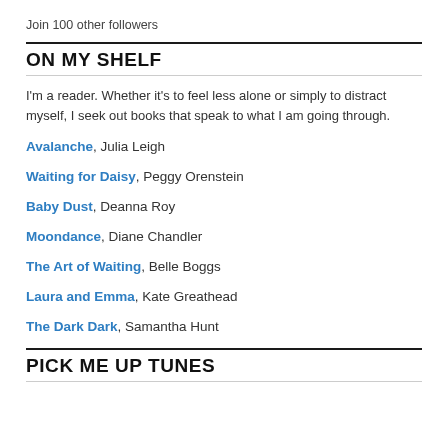Join 100 other followers
ON MY SHELF
I'm a reader. Whether it's to feel less alone or simply to distract myself, I seek out books that speak to what I am going through.
Avalanche, Julia Leigh
Waiting for Daisy, Peggy Orenstein
Baby Dust, Deanna Roy
Moondance, Diane Chandler
The Art of Waiting, Belle Boggs
Laura and Emma, Kate Greathead
The Dark Dark, Samantha Hunt
PICK ME UP TUNES